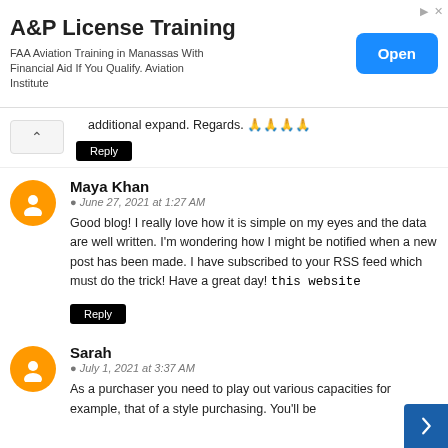[Figure (other): Advertisement banner: A&P License Training. FAA Aviation Training in Manassas With Financial Aid If You Qualify. Aviation Institute. Open button.]
additional expand. Regards. 🙏🙏🙏🙏
Reply
Maya Khan
June 27, 2021 at 1:27 AM
Good blog! I really love how it is simple on my eyes and the data are well written. I'm wondering how I might be notified when a new post has been made. I have subscribed to your RSS feed which must do the trick! Have a great day! this website
Reply
Sarah
July 1, 2021 at 3:37 AM
As a purchaser you need to play out various capacities for example, that of a style purchasing. You'll be